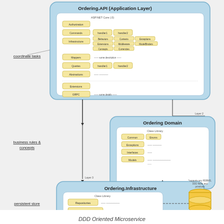[Figure (engineering-diagram): DDD-Oriented Microservice architecture diagram showing three layers: Ordering.API (Application Layer) at top with ASP.NET Core components including Authorization, Commands, Infrastructure, Queries, Mappers, and GRPC modules; Ordering Domain (Class Library) in middle with Common, Exceptions, Interfaces, and Models components; Ordering.Infrastructure (Class Library) at bottom with Repositories and Entity Configurations connected via dotted arrow to a Data persistence tier (database icon). Left side annotations: 'coordinate tasks' for top layer, 'business rules & concepts' for middle layer, 'persistent store' for bottom layer. Caption at bottom: 'DDD Oriented Microservice'.]
DDD Oriented Microservice